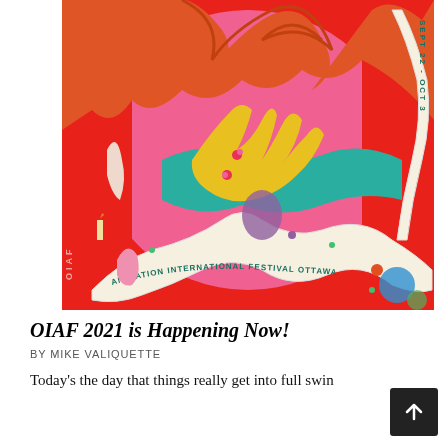[Figure (illustration): Colorful illustrated festival poster for Ottawa International Animation Festival (OIAF) 2021, featuring a stylized figure with flowing red/orange hair on a red and pink background, with serpentine ribbon text reading 'Ottawa International Animation Festival' and 'Sept 22 - Oct 3'. The image is vibrant with teal, yellow, pink, and blue accents.]
OIAF 2021 is Happening Now!
BY MIKE VALIQUETTE
Today's the day that things really get into full swin